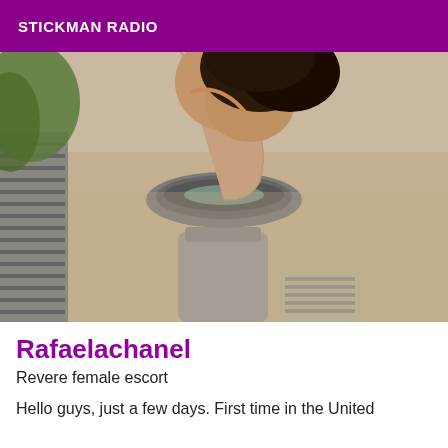STICKMAN RADIO
[Figure (photo): A person drinking from an outdoor stone drinking fountain. The photo is taken from above and to the side, showing the person leaning over the bowl of the fountain with water flowing. Background shows sandy ground and what appears to be a park bench on the left.]
Rafaelachanel
Revere female escort
Hello guys, just a few days. First time in the United